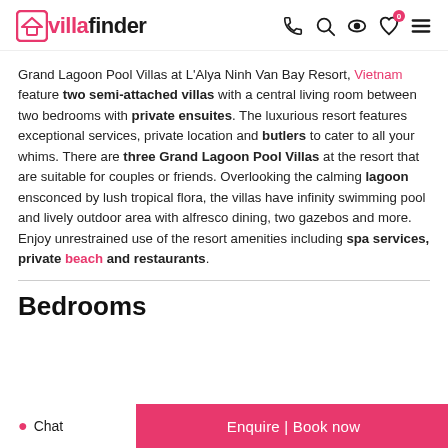villa finder — navigation header with phone, search, eye, heart (0), and menu icons
Grand Lagoon Pool Villas at L'Alya Ninh Van Bay Resort, Vietnam feature two semi-attached villas with a central living room between two bedrooms with private ensuites. The luxurious resort features exceptional services, private location and butlers to cater to all your whims. There are three Grand Lagoon Pool Villas at the resort that are suitable for couples or friends. Overlooking the calming lagoon ensconced by lush tropical flora, the villas have infinity swimming pool and lively outdoor area with alfresco dining, two gazebos and more. Enjoy unrestrained use of the resort amenities including spa services, private beach and restaurants.
Bedrooms
Chat | Enquire | Book now